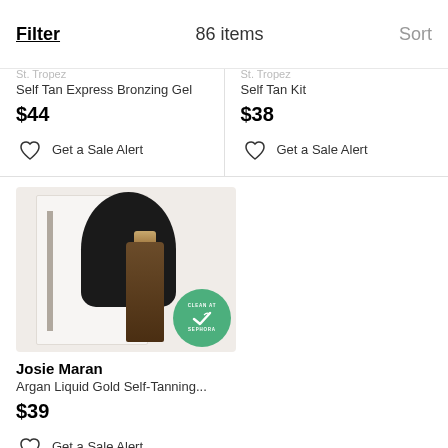Filter  86 items  Sort
Self Tan Express Bronzing Gel
$44
Get a Sale Alert
Self Tan Kit
$38
Get a Sale Alert
[Figure (photo): Josie Maran Argan Liquid Gold Self-Tanning product set including a dark bottle, black mitt, and box packaging. A green 'Clean at Sephora' badge is overlaid on the image.]
Josie Maran
Argan Liquid Gold Self-Tanning...
$39
Get a Sale Alert